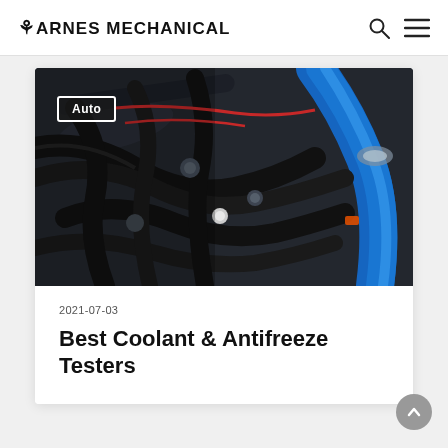CARNES MECHANICAL
[Figure (photo): Close-up photo of a car engine bay showing black hoses, wiring, and a distinctive blue intake pipe/component on the right side]
Auto
2021-07-03
Best Coolant & Antifreeze Testers